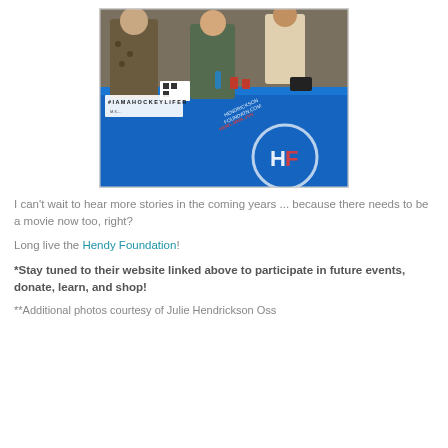[Figure (photo): People standing behind a long table covered with a bright blue tablecloth branded with the Hendy Foundation logo (HF) and website hendricksonFoundation.com. A sign in the foreground reads #IAMAHOCKEYLIFER. Items and merchandise are visible on the table.]
I can't wait to hear more stories in the coming years ... because there needs to be a movie now too, right?
Long live the Hendy Foundation!
*Stay tuned to their website linked above to participate in future events, donate, learn, and shop!
**Additional photos courtesy of Julie Hendrickson Oss